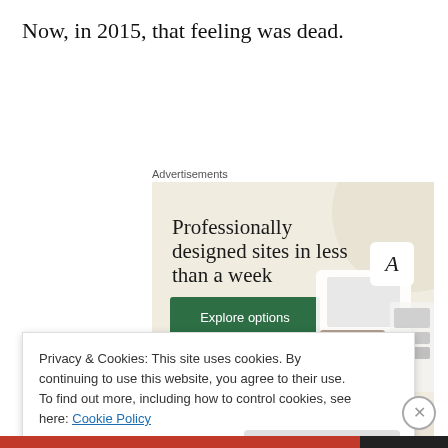Now, in 2015, that feeling was dead.
Advertisements
[Figure (illustration): Advertisement banner with beige background showing the text 'Professionally designed sites in less than a week', a green 'Explore options' button, and mockup images of websites on the right side.]
Privacy & Cookies: This site uses cookies. By continuing to use this website, you agree to their use.
To find out more, including how to control cookies, see here: Cookie Policy
Close and accept